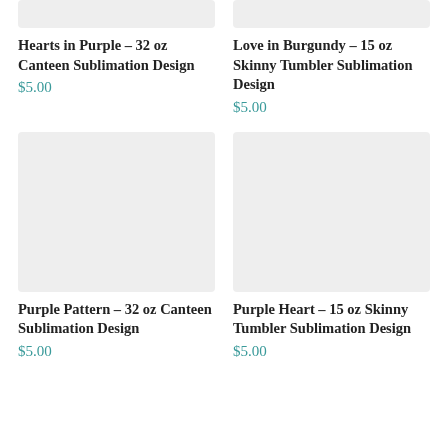[Figure (photo): Product image placeholder top-left (Hearts in Purple canteen)]
Hearts in Purple – 32 oz Canteen Sublimation Design
$5.00
[Figure (photo): Product image placeholder top-right (Love in Burgundy tumbler)]
Love in Burgundy – 15 oz Skinny Tumbler Sublimation Design
$5.00
[Figure (photo): Product image placeholder bottom-left (Purple Pattern canteen)]
Purple Pattern – 32 oz Canteen Sublimation Design
$5.00
[Figure (photo): Product image placeholder bottom-right (Purple Heart tumbler)]
Purple Heart – 15 oz Skinny Tumbler Sublimation Design
$5.00